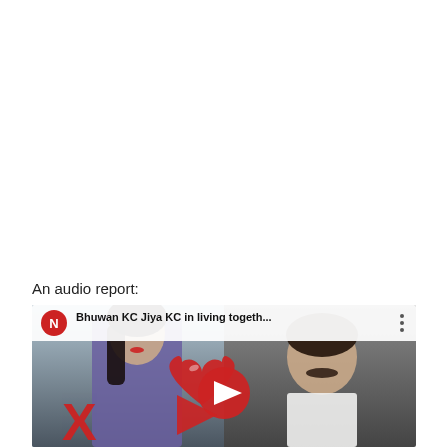An audio report:
[Figure (screenshot): YouTube video thumbnail showing Bhuwan KC and Jiya KC with title 'Bhuwan KC Jiya KC in living togeth...' with YouTube play button, red X and red heart overlay graphics]
After that, a number of film related persons have told that